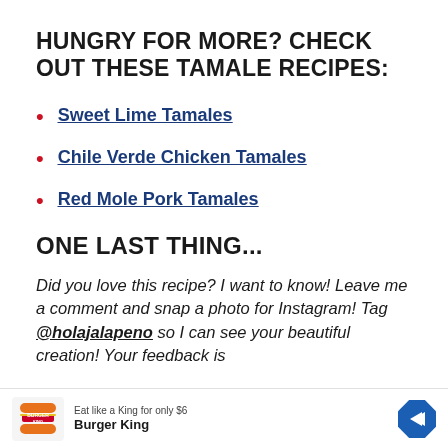HUNGRY FOR MORE? CHECK OUT THESE TAMALE RECIPES:
Sweet Lime Tamales
Chile Verde Chicken Tamales
Red Mole Pork Tamales
ONE LAST THING...
Did you love this recipe? I want to know! Leave me a comment and snap a photo for Instagram! Tag @holajalapeno so I can see your beautiful creation! Your feedback is
[Figure (other): Burger King advertisement banner at bottom of page showing logo, 'Eat like a King for only $6', Burger King brand name, and a navigation arrow icon]